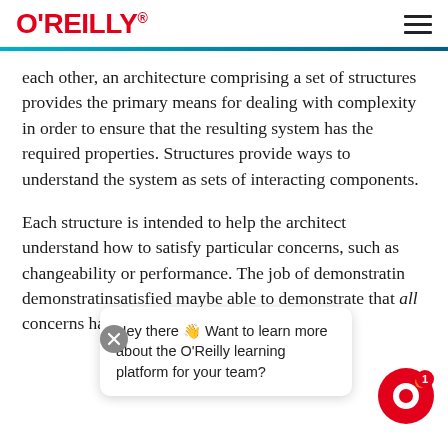O'REILLY
each other, an architecture comprising a set of structures provides the primary means for dealing with complexity in order to ensure that the resulting system has the required properties. Structures provide ways to understand the system as sets of interacting components.
Each structure is intended to help the architect understand how to satisfy particular concerns, such as changeability or performance. The job of demonstrating that the concerns have been satisfied may be able to demonstrate that all concerns have been